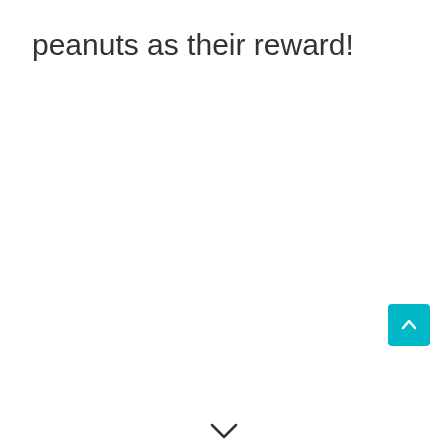peanuts as their reward!
[Figure (other): Teal/cyan square button with a white upward-pointing chevron arrow, used as a scroll-to-top button]
[Figure (other): Small downward-pointing chevron icon at the bottom center of the page]